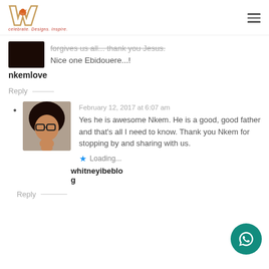[Figure (logo): Warriorette blog logo - stylized W with orange bird, red tagline text]
forgives us all... thank you Jesus. Nice one Ebidouere...!
nkemlove
Reply
[Figure (photo): Profile photo of a woman with curly hair and glasses]
February 12, 2017 at 6:07 am
Yes he is awesome Nkem. He is a good, good father and that's all I need to know. Thank you Nkem for stopping by and sharing with us.
Loading...
whitneyibeblog
Reply